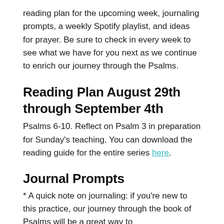reading plan for the upcoming week, journaling prompts, a weekly Spotify playlist, and ideas for prayer. Be sure to check in every week to see what we have for you next as we continue to enrich our journey through the Psalms.
Reading Plan August 29th through September 4th
Psalms 6-10. Reflect on Psalm 3 in preparation for Sunday's teaching. You can download the reading guide for the entire series here.
Journal Prompts
* A quick note on journaling: if you're new to this practice, our journey through the book of Psalms will be a great way to